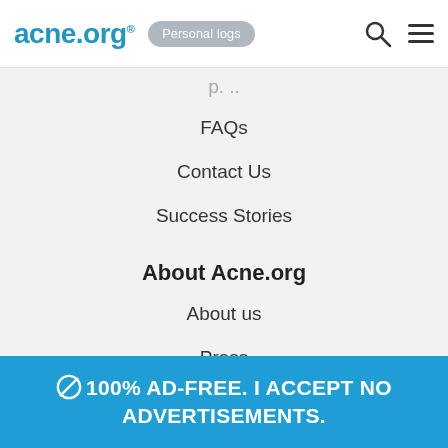acne.org® Personal logs
FAQs
Contact Us
Success Stories
About Acne.org
About us
Press
Terms of service
Disclaimer
Community rules
🚫 100% AD-FREE. I ACCEPT NO ADVERTISEMENTS.